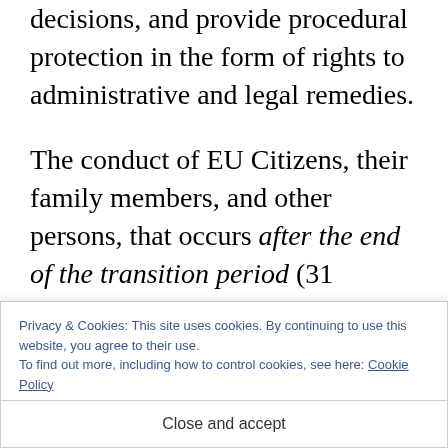decisions, and provide procedural protection in the form of rights to administrative and legal remedies.
The conduct of EU Citizens, their family members, and other persons, that occurs after the end of the transition period (31 December 2020) is not protected by the Withdrawal Agreement and decisions to exclude a person or to deport them
Privacy & Cookies: This site uses cookies. By continuing to use this website, you agree to their use.
To find out more, including how to control cookies, see here: Cookie Policy
Close and accept
Agreement. For example, a German citizen